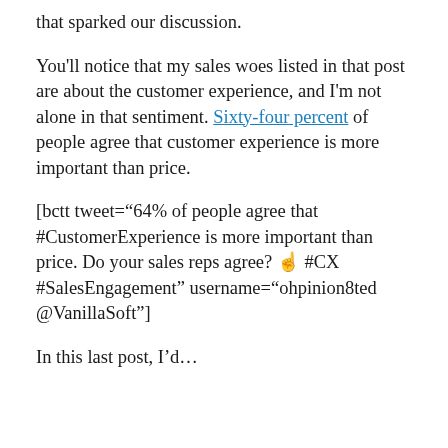that sparked our discussion.
You'll notice that my sales woes listed in that post are about the customer experience, and I'm not alone in that sentiment. Sixty-four percent of people agree that customer experience is more important than price.
[bctt tweet="64% of people agree that #CustomerExperience is more important than price. Do your sales reps agree? ☝ #CX #SalesEngagement" username="ohpinion8ted @VanillaSoft"]
In this last post, I'd…